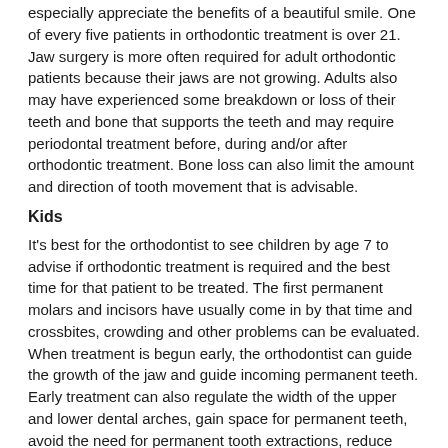especially appreciate the benefits of a beautiful smile. One of every five patients in orthodontic treatment is over 21. Jaw surgery is more often required for adult orthodontic patients because their jaws are not growing. Adults also may have experienced some breakdown or loss of their teeth and bone that supports the teeth and may require periodontal treatment before, during and/or after orthodontic treatment. Bone loss can also limit the amount and direction of tooth movement that is advisable.
Kids
It's best for the orthodontist to see children by age 7 to advise if orthodontic treatment is required and the best time for that patient to be treated. The first permanent molars and incisors have usually come in by that time and crossbites, crowding and other problems can be evaluated. When treatment is begun early, the orthodontist can guide the growth of the jaw and guide incoming permanent teeth. Early treatment can also regulate the width of the upper and lower dental arches, gain space for permanent teeth, avoid the need for permanent tooth extractions, reduce likelihood of impacted permanent teeth, correct thumb-sucking, and eliminate abnormal swallowing or speech problems. In other words, early treatment can simplify later treatment.
How Orthodontic Treatment Works